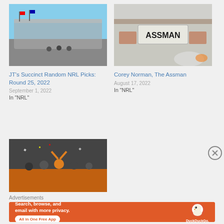[Figure (photo): Photo of a stadium exterior with blue sky]
JT's Succinct Random NRL Picks: Round 25, 2022
September 1, 2022
In "NRL"
[Figure (photo): Photo of a car license plate reading ASSMAN]
Corey Norman, The Assman
August 17, 2022
In "NRL"
[Figure (photo): Photo of a crowd celebration with a person in orange]
Advertisements
[Figure (screenshot): DuckDuckGo advertisement: Search, browse, and email with more privacy. All in One Free App]